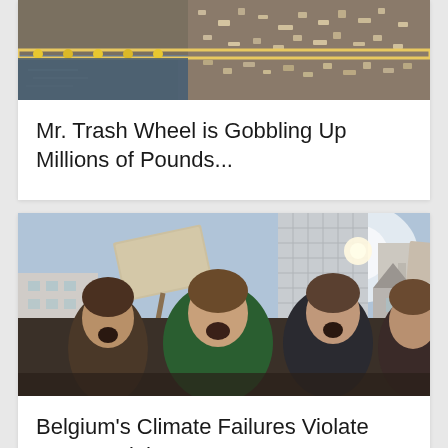[Figure (photo): Aerial or close-up view of trash and debris floating on water, with a floating boom/barrier visible, showing garbage collection on a waterway.]
Mr. Trash Wheel is Gobbling Up Millions of Pounds...
[Figure (photo): Young women protesters shouting outdoors at a climate demonstration, with city buildings and a tall modern glass tower in the background. One woman wears a green jacket.]
Belgium's Climate Failures Violate Human Rights